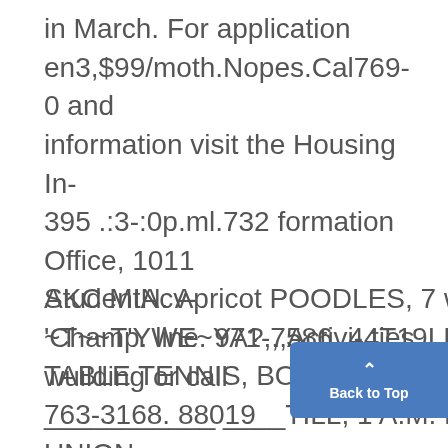in March. For application en3,$99/moth.Nopes.Cal769-0 and information visit the Housing In- 395 .:3-:0p.ml.732 formation Office, 1011 StudentAcv- ~T~~T'YWE~YA?,,,Activi- ties wuilding or call 763-3168. 88019
AKC MIN. Apricot POODLES, 7 wls- 'Champ. line. 971-7586. 44T19I BILLIARDS, TABLE TENNIS, BOWLING ___________ ____TILL, 1 A.M. FRI. AND SAT UNION. %"fkllfcrFV 11 ll